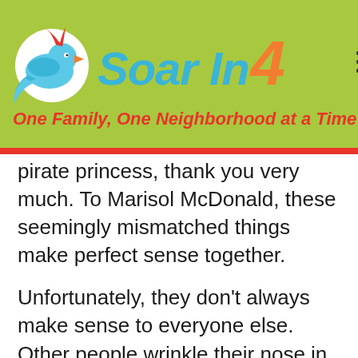[Figure (logo): Soar In 4 logo with bird on lime green background. Blue stylized bird on white circle, text 'Soar In' in blue italic, '4' in orange italic, tagline 'One Family, One Neighborhood at a Time' in red italic below.]
pirate princess, thank you very much. To Marisol McDonald, these seemingly mismatched things make perfect sense together.
Unfortunately, they don't always make sense to everyone else. Other people wrinkle their nose in confusion at Marisol—can't she just be one or the other? Try as she might, in a world where everyone tries to put this biracial, Peruvian-Scottish-American girl into a box, Marisol McDonald doesn't match. And that's just fine with her.